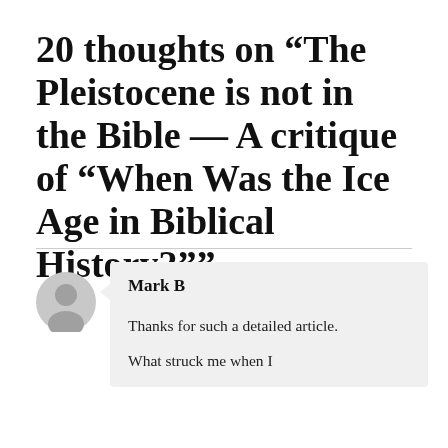20 thoughts on “The Pleistocene is not in the Bible — A critique of “When Was the Ice Age in Biblical History?””
Mark B
Thanks for such a detailed article.
What struck me when I